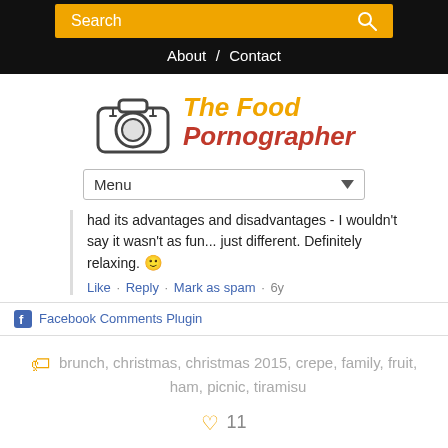Search
About / Contact
[Figure (logo): The Food Pornographer logo with camera icon]
Menu
had its advantages and disadvantages - I wouldn't say it wasn't as fun... just different. Definitely relaxing. 🙂
Like · Reply · Mark as spam · 6y
Facebook Comments Plugin
brunch, christmas, christmas 2015, crepe, family, fruit, ham, picnic, tiramisu
11